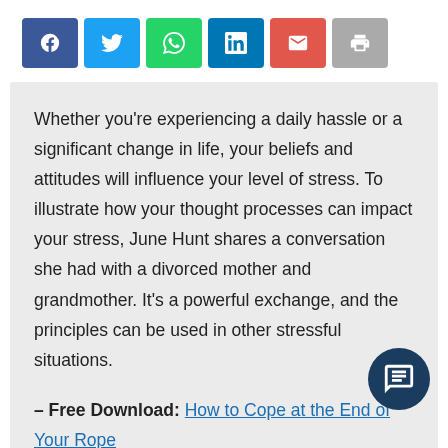[Figure (infographic): Social share buttons row: Facebook (blue), Twitter (light blue), WhatsApp (green), LinkedIn (dark blue), Email (red), Print (grey)]
Whether you're experiencing a daily hassle or a significant change in life, your beliefs and attitudes will influence your level of stress. To illustrate how your thought processes can impact your stress, June Hunt shares a conversation she had with a divorced mother and grandmother. It's a powerful exchange, and the principles can be used in other stressful situations.
– Free Download: How to Cope at the End of Your Rope